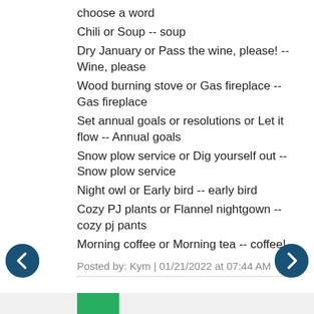choose a word
Chili or Soup -- soup
Dry January or Pass the wine, please! -- Wine, please
Wood burning stove or Gas fireplace -- Gas fireplace
Set annual goals or resolutions or Let it flow -- Annual goals
Snow plow service or Dig yourself out -- Snow plow service
Night owl or Early bird -- early bird
Cozy PJ plants or Flannel nightgown -- cozy pj pants
Morning coffee or Morning tea -- coffee!
Posted by: Kym | 01/21/2022 at 07:44 AM